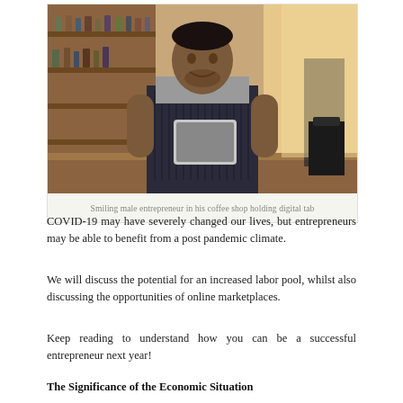[Figure (photo): Smiling male entrepreneur standing in his coffee shop holding a digital tablet, wearing a striped apron, with shelves of bottles in the background and warm sunlight coming through a window.]
Smiling male entrepreneur in his coffee shop holding digital tab
COVID-19 may have severely changed our lives, but entrepreneurs may be able to benefit from a post pandemic climate.
We will discuss the potential for an increased labor pool, whilst also discussing the opportunities of online marketplaces.
Keep reading to understand how you can be a successful entrepreneur next year!
The Significance of the Economic Situation